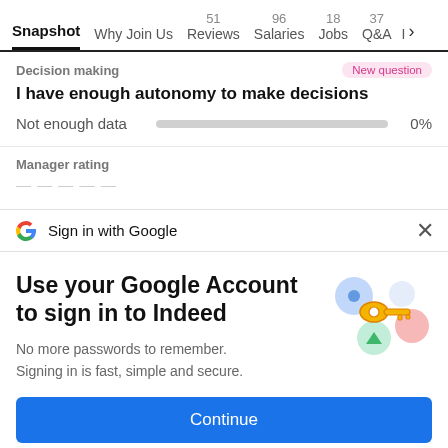Snapshot  Why Join Us  51 Reviews  96 Salaries  18 Jobs  37 Q&A  I >
Decision making
New question
I have enough autonomy to make decisions
Not enough data  0%
Manager rating
Sign in with Google
Use your Google Account to sign in to Indeed
No more passwords to remember. Signing in is fast, simple and secure.
[Figure (illustration): Google key illustration with colorful circles and a golden key]
Continue